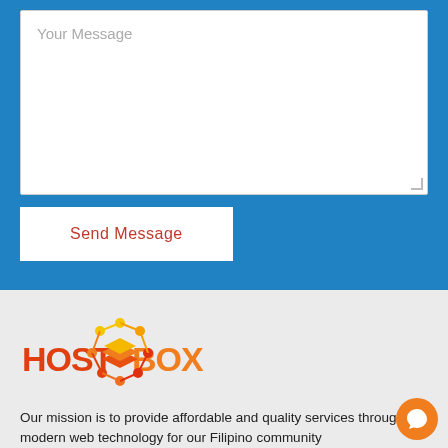Your Message
Send Message
[Figure (logo): HostBox logo with orange layered box icon and text HOST BOX in orange/red]
Our mission is to provide affordable and quality services through modern web technology for our Filipino community